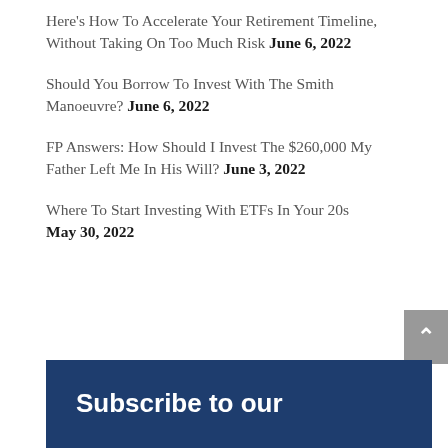Here's How To Accelerate Your Retirement Timeline, Without Taking On Too Much Risk June 6, 2022
Should You Borrow To Invest With The Smith Manoeuvre? June 6, 2022
FP Answers: How Should I Invest The $260,000 My Father Left Me In His Will? June 3, 2022
Where To Start Investing With ETFs In Your 20s May 30, 2022
Subscribe to our